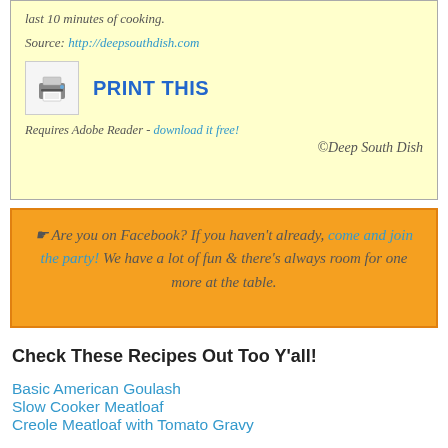last 10 minutes of cooking.
Source: http://deepsouthdish.com
[Figure (other): Printer icon image]
PRINT THIS
Requires Adobe Reader - download it free!
©Deep South Dish
☛ Are you on Facebook? If you haven't already, come and join the party! We have a lot of fun & there's always room for one more at the table.
Check These Recipes Out Too Y'all!
Basic American Goulash
Slow Cooker Meatloaf
Creole Meatloaf with Tomato Gravy